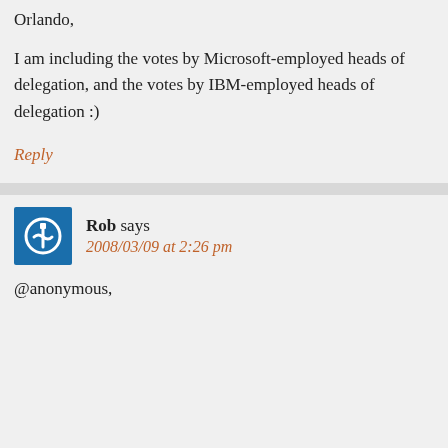Orlando,
I am including the votes by Microsoft-employed heads of delegation, and the votes by IBM-employed heads of delegation :)
Reply
Rob says
2008/03/09 at 2:26 pm
@anonymous,